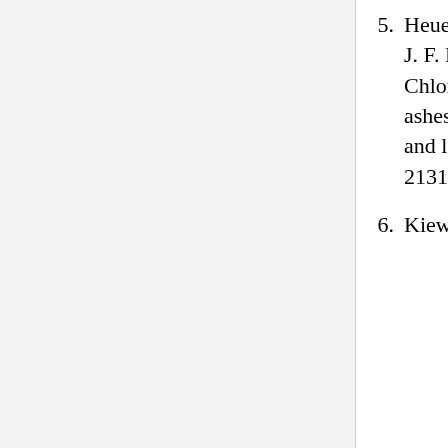5. Heuertz, M, S. Carnevale, S. Fineschi, F. Sebastiani, J. F. Hausman, L. Paule and G. G. Vendramin 2006 Chloroplast DNA phylogeography of European ashes, Fraxinus sp. (Oleaceae): roles of hybridization and life history traits Molecular Ecology 15(8): 2131–2140
6. Kiew, Ruth 1978 Florae Malesianae ...